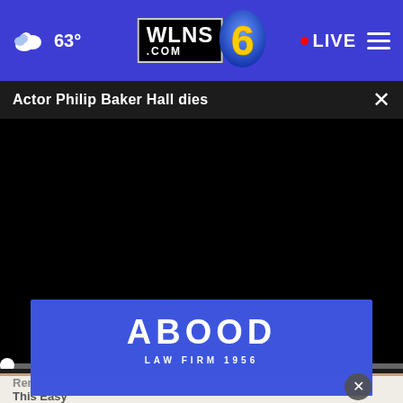WLNS.COM 6 — 63° — LIVE
Actor Philip Baker Hall dies
[Figure (screenshot): Black video player area with scrubber bar at zero and playback controls showing 00:00]
[Figure (photo): Partial view of a person's face and hand near bottom of screen]
[Figure (logo): ABOOD LAW FIRM 1956 advertisement banner in blue]
Rem... This Easy